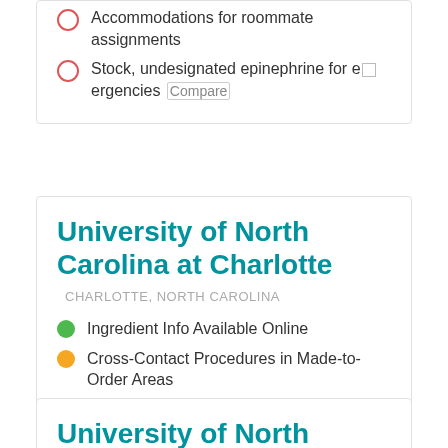Accommodations for roommate assignments
Stock, undesignated epinephrine for emergencies
University of North Carolina at Charlotte
CHARLOTTE, NORTH CAROLINA
Ingredient Info Available Online
Cross-Contact Procedures in Made-to-Order Areas
Accommodations for roommate assignments
Stock, undesignated epinephrine for emergencies
University of North Carolina at Greensboro